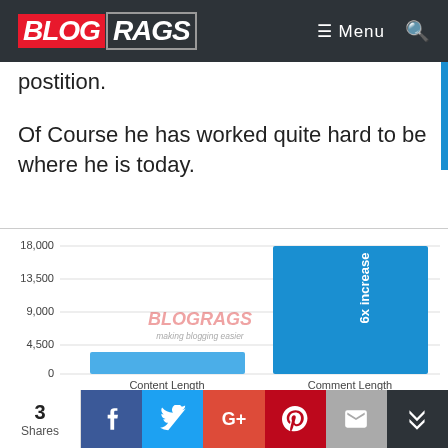BLOGRAGS — Menu (navigation bar)
postition.
Of Course he has worked quite hard to be where he is today.
[Figure (bar-chart): Bar chart showing Content Length (~3,000) vs Comment Length (~18,000), with '6x increase' label on the taller bar. Y-axis labels: 0, 4,500, 9,000, 13,500, 18,000. BlogRags watermark in center.]